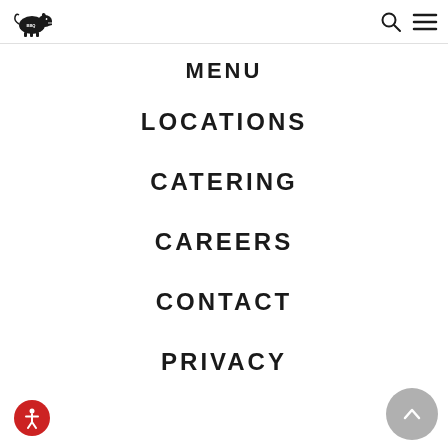Pig restaurant logo, search icon, menu icon
MENU
LOCATIONS
CATERING
CAREERS
CONTACT
PRIVACY